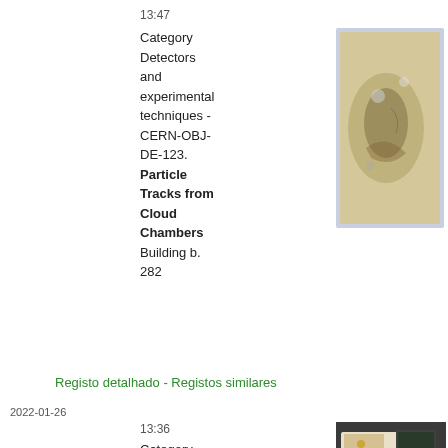13:47
Category Detectors and experimental techniques - CERN-OBJ-DE-123. Particle Tracks from Cloud Chambers Building b. 282
[Figure (photo): A cloud chamber photograph showing particle tracks on a yellowish/beige background with visible circular and curved dark traces]
Registo detalhado - Registos similares
2022-01-26
13:36
Category Detectors and experimental
[Figure (photo): A photo showing what appears to be detector or electronic equipment components, cards and circuit boards]